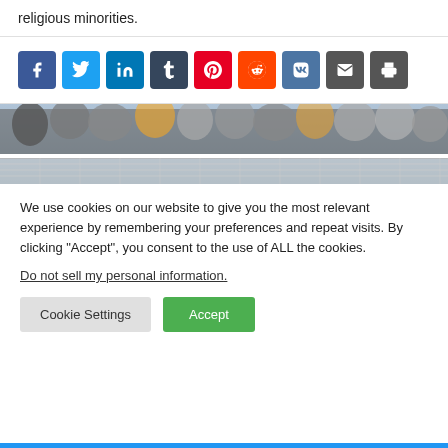religious minorities.
[Figure (infographic): Social media share buttons: Facebook, Twitter, LinkedIn, Tumblr, Pinterest, Reddit, VK, Email, Print]
[Figure (photo): Crowd of sports fans at a stadium, celebrating behind a goal net]
We use cookies on our website to give you the most relevant experience by remembering your preferences and repeat visits. By clicking “Accept”, you consent to the use of ALL the cookies.
Do not sell my personal information.
Cookie Settings   Accept